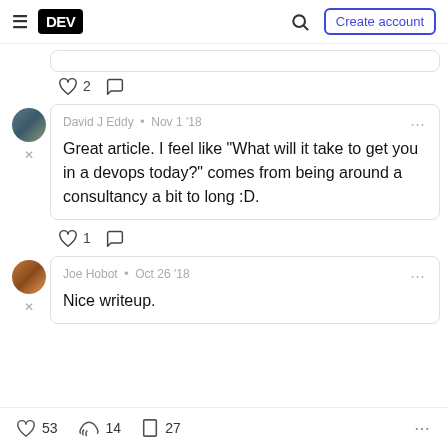DEV — Create account
[Figure (screenshot): Partial comment card top edge visible]
♡ 2  ○
David J Eddy · Nov 1 '18 — Great article. I feel like "What will it take to get you in a devops today?" comes from being around a consultancy a bit to long :D.
♡ 1  ○
Joe Hobot · Oct 26 '18 — Nice writeup.
♡ 53   🔥 14   □ 27   ...